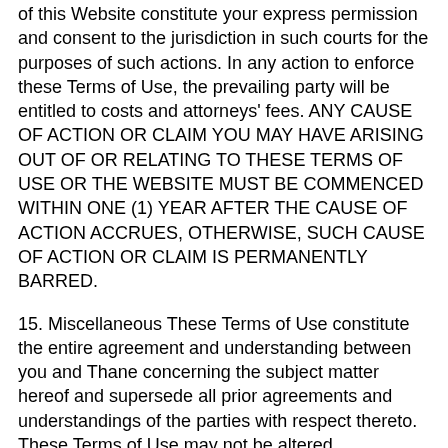of this Website constitute your express permission and consent to the jurisdiction in such courts for the purposes of such actions. In any action to enforce these Terms of Use, the prevailing party will be entitled to costs and attorneys' fees. ANY CAUSE OF ACTION OR CLAIM YOU MAY HAVE ARISING OUT OF OR RELATING TO THESE TERMS OF USE OR THE WEBSITE MUST BE COMMENCED WITHIN ONE (1) YEAR AFTER THE CAUSE OF ACTION ACCRUES, OTHERWISE, SUCH CAUSE OF ACTION OR CLAIM IS PERMANENTLY BARRED.
15. Miscellaneous These Terms of Use constitute the entire agreement and understanding between you and Thane concerning the subject matter hereof and supersede all prior agreements and understandings of the parties with respect thereto. These Terms of Use may not be altered, supplemented, or amended by the use of any other document(s). Any attempt to alter, supplement, or amend these Terms of Use, or to enter an order for products or services that are subject to additional or altered terms and conditions, shall be null and void, unless otherwise agreed to in a written agreement signed by you and Thane. To the extent that anything in or associated